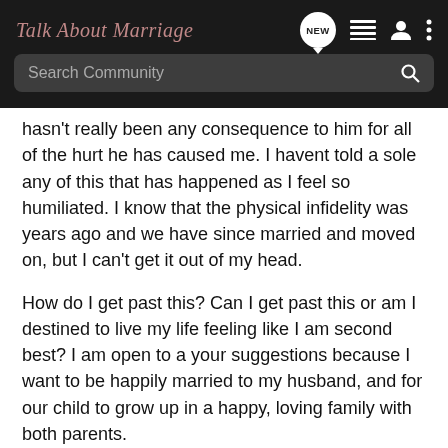Talk About Marriage
Search Community
hasn't really been any consequence to him for all of the hurt he has caused me. I havent told a sole any of this that has happened as I feel so humiliated. I know that the physical infidelity was years ago and we have since married and moved on, but I can't get it out of my head.
How do I get past this? Can I get past this or am I destined to live my life feeling like I am second best? I am open to a your suggestions because I want to be happily married to my husband, and for our child to grow up in a happy, loving family with both parents.
Do you believe someone can change and commit...or am I just setting myself up for a huge heartbreak?